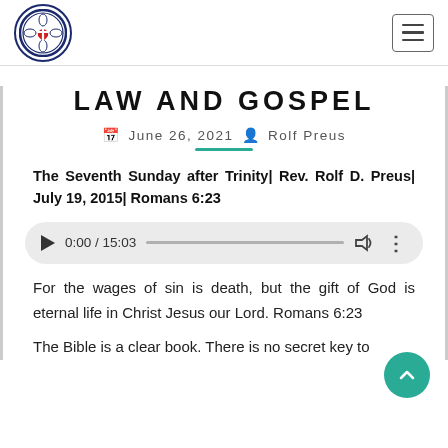Lutheran church logo and hamburger menu
LAW AND GOSPEL
June 26, 2021  Rolf Preus
The Seventh Sunday after Trinity| Rev. Rolf D. Preus| July 19, 2015| Romans 6:23
[Figure (other): Audio player showing 0:00 / 15:03 with play button, progress bar, volume and options icons]
For the wages of sin is death, but the gift of God is eternal life in Christ Jesus our Lord. Romans 6:23
The Bible is a clear book. There is no secret key to